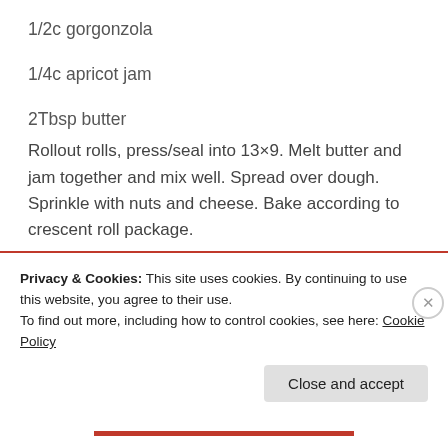1/2c gorgonzola
1/4c apricot jam
2Tbsp butter
Rollout rolls, press/seal into 13×9. Melt butter and jam together and mix well. Spread over dough. Sprinkle with nuts and cheese. Bake according to crescent roll package.
—Needs more apricot and gorgonzola– try 1/2c apricot and f...
Privacy & Cookies: This site uses cookies. By continuing to use this website, you agree to their use.
To find out more, including how to control cookies, see here: Cookie Policy
Close and accept